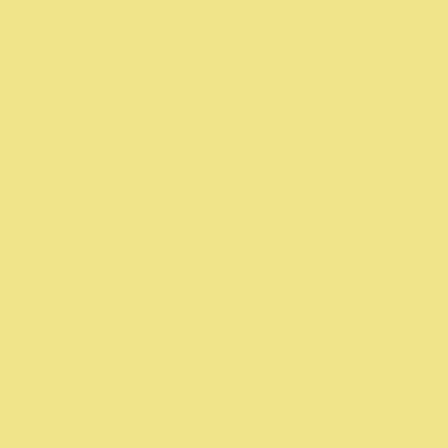because of that design, that gestalt built into each one. It was the best, most ergonomic design (of its day), which by definition needed a rangefinder, a lensmount, shutter, and film transport.
Most of the shape and the dimensions are ergonomics, designed to be able to accommodate and the mechanical workings that all have little in common, except that they are the essentials that make a camera what it is. We no longer need a 35mm film canister. We are electronic devices, with almost none of the mechanical necessities of their film bodies.
Oscar Barnak didn't build the first Leica to become an icon, he built it because he wanted to expose 35mm film. And nothing else. Designers of the M3 on up saw the elegance and managed to do the same thing, only